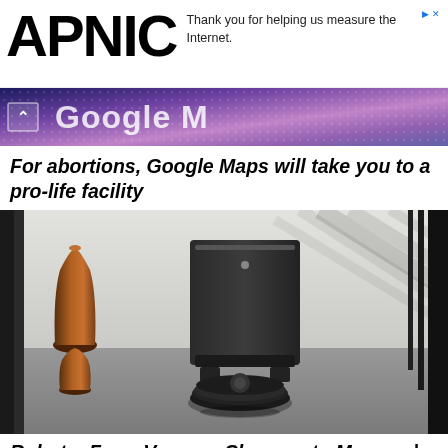APNIC
Thank you for helping us measure the Internet.
[Figure (screenshot): Google Maps banner ad with purple/pink gradient background showing 'Google M...' text and an up-chevron button on left]
For abortions, Google Maps will take you to a pro-life facility
[Figure (photo): Robot vacuum cleaner on a grey concrete floor in a modern room with a large black charging station/dock against a white wall. A bronze/copper decorative vase is visible on the left side. Natural light casts diagonal shadows on the wall from vertical blinds on the right.]
Robots: From Vacuum Cleaners to Mowers | Pres